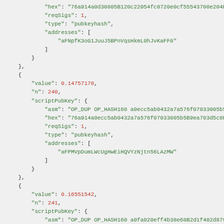JSON code block showing Bitcoin transaction output entries with hex, reqSigs, type, addresses fields and value/n/scriptPubKey entries for outputs 240, 241, and 242.